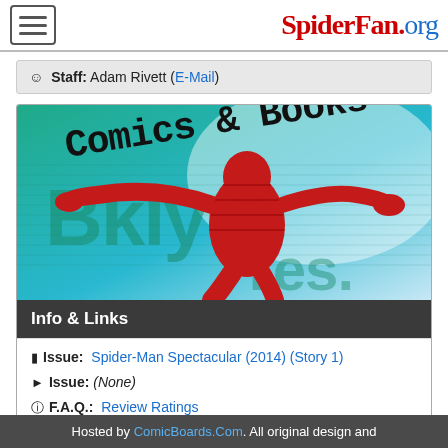SpiderFan.org
Staff: Adam Rivett (E-Mail)
[Figure (illustration): Comics & Books banner image showing Spider-Man silhouette with arms outstretched against a teal and light blue background with 'Comics & Books' text overlay in typewriter font]
Info & Links
Issue: Spider-Man Spectacular (2014) (Story 1)
Issue: (None)
F.A.Q.: Review Ratings
Hosted by ComicBoards.Com. All original design and